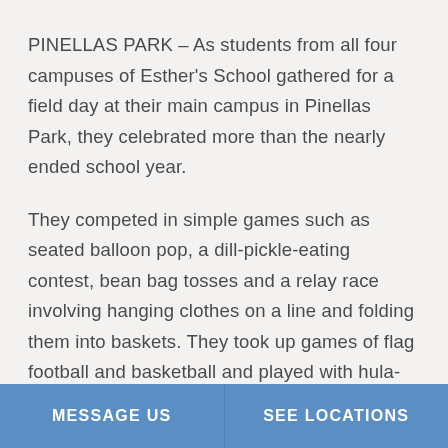PINELLAS PARK – As students from all four campuses of Esther's School gathered for a field day at their main campus in Pinellas Park, they celebrated more than the nearly ended school year.

They competed in simple games such as seated balloon pop, a dill-pickle-eating contest, bean bag tosses and a relay race involving hanging clothes on a line and folding them into baskets. They took up games of flag football and basketball and played with hula-hoops. All of the
MESSAGE US | SEE LOCATIONS